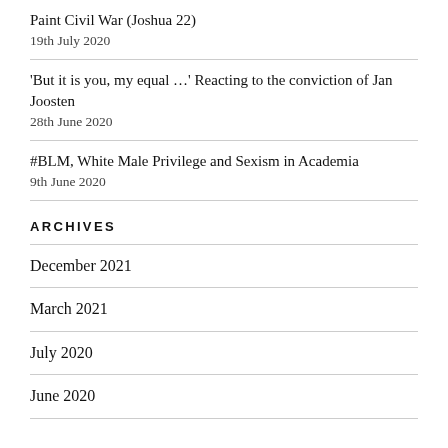Paint Civil War (Joshua 22)
19th July 2020
'But it is you, my equal …' Reacting to the conviction of Jan Joosten
28th June 2020
#BLM, White Male Privilege and Sexism in Academia
9th June 2020
ARCHIVES
December 2021
March 2021
July 2020
June 2020